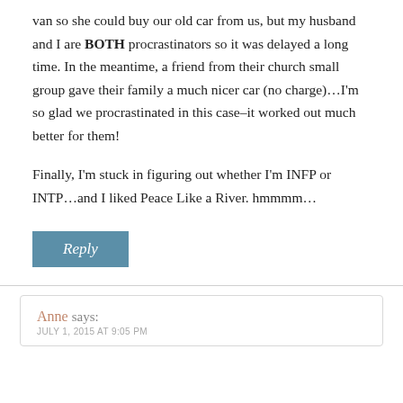van so she could buy our old car from us, but my husband and I are BOTH procrastinators so it was delayed a long time. In the meantime, a friend from their church small group gave their family a much nicer car (no charge)…I'm so glad we procrastinated in this case–it worked out much better for them!
Finally, I'm stuck in figuring out whether I'm INFP or INTP…and I liked Peace Like a River. hmmmm…
Reply
Anne says:
JULY 1, 2015 AT 9:05 PM